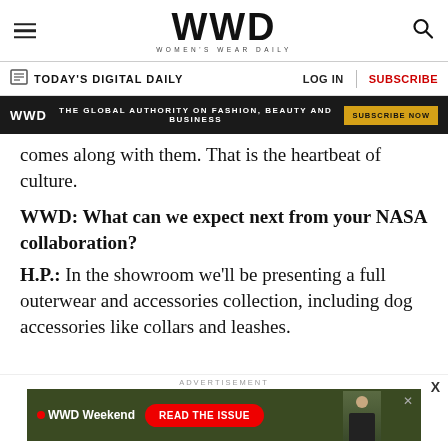WWD WOMEN'S WEAR DAILY
TODAY'S DIGITAL DAILY | LOG IN | SUBSCRIBE
[Figure (screenshot): WWD ad banner: THE GLOBAL AUTHORITY ON FASHION, BEAUTY AND BUSINESS | SUBSCRIBE NOW]
comes along with them. That is the heartbeat of culture.
WWD: What can we expect next from your NASA collaboration?
H.P.: In the showroom we'll be presenting a full outerwear and accessories collection, including dog accessories like collars and leashes.
[Figure (screenshot): WWD Weekend advertisement banner: READ THE ISSUE]